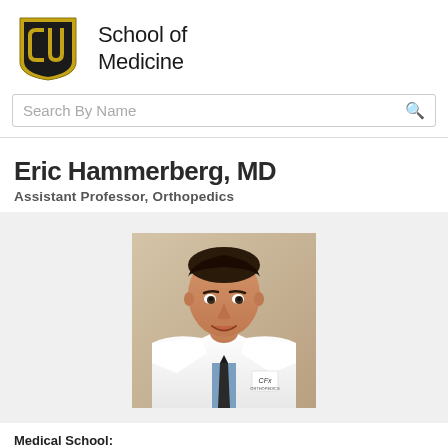[Figure (logo): University of Colorado CU logo shield with gold and black colors, next to text 'School of Medicine']
Eric Hammerberg, MD
Assistant Professor, Orthopedics
[Figure (photo): Professional headshot of Dr. Eric Hammerberg wearing a white lab coat with a tie, dark hair, smiling]
Medical School:
MD, University of Colorado Denver School of Medicine